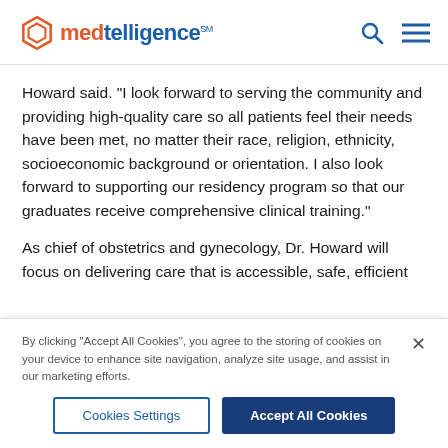medtelligence
Howard said. "I look forward to serving the community and providing high-quality care so all patients feel their needs have been met, no matter their race, religion, ethnicity, socioeconomic background or orientation. I also look forward to supporting our residency program so that our graduates receive comprehensive clinical training."
As chief of obstetrics and gynecology, Dr. Howard will focus on delivering care that is accessible, safe, efficient
By clicking "Accept All Cookies", you agree to the storing of cookies on your device to enhance site navigation, analyze site usage, and assist in our marketing efforts.